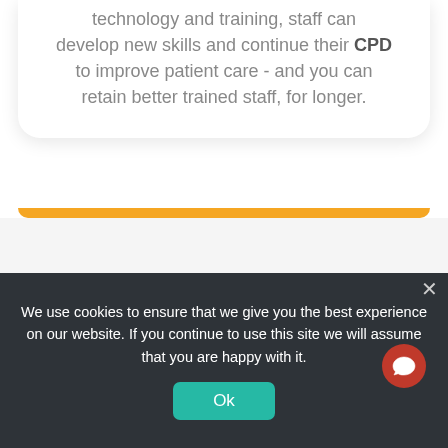technology and training, staff can develop new skills and continue their CPD to improve patient care - and you can retain better trained staff, for longer.
[Figure (other): Partially visible lower card placeholder (greyed out)]
We use cookies to ensure that we give you the best experience on our website. If you continue to use this site we will assume that you are happy with it.